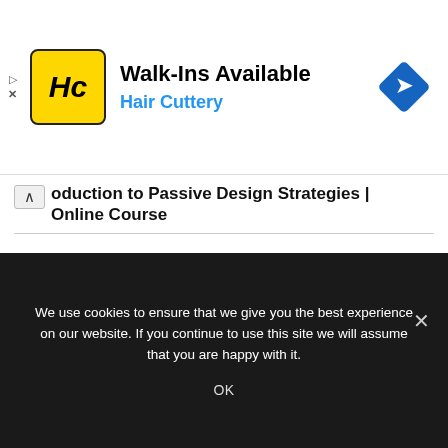[Figure (other): Hair Cuttery advertisement banner with logo, 'Walk-Ins Available' text, 'Hair Cuttery' subtitle in blue, and navigation diamond icon]
oduction to Passive Design Strategies | Online Course
[Figure (photo): Photo of a hand writing on paper with text 'PASSIVE DESIGN STRATEGIES' and green leaves in background]
We use cookies to ensure that we give you the best experience on our website. If you continue to use this site we will assume that you are happy with it.
OK